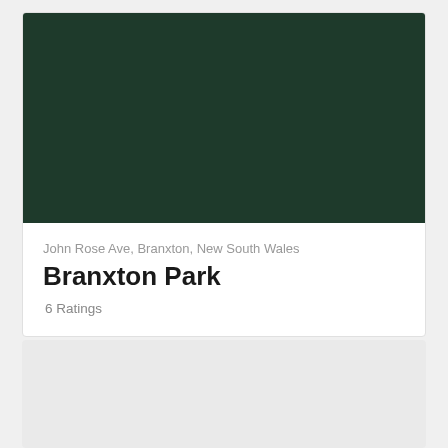[Figure (photo): Dark green image area (park photo placeholder) at top of card]
John Rose Ave, Branxton, New South Wales
Branxton Park
6 Ratings